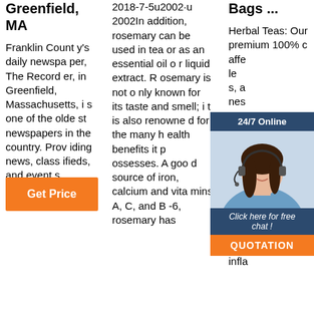Greenfield, MA
Franklin County's daily newspaper, The Recorder, in Greenfield, Massachusetts, is one of the oldest newspapers in the country. Providing news, classifieds, and events information on the web and ...
2018-7-5u2002·u2002In addition, rosemary can be used in tea or as an essential oil or liquid extract. Rosemary is not only known for its taste and smell; it is also renowned for the many health benefits it possesses. A good source of iron, calcium and vitamins A, C, and B-6, rosemary has
Bags ...
Herbal Teas: Our premium 100% c affe le s, a nes ibos omi ose f bo s. M eas have natural functional health benefits, such as calming, throat soothing, anti-infla
[Figure (other): Chat widget overlay with woman wearing headset, dark blue header '24/7 Online', 'Click here for free chat!' text, and orange QUOTATION button]
Get Price